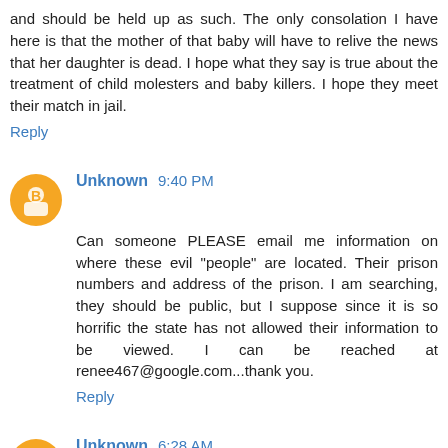and should be held up as such. The only consolation I have here is that the mother of that baby will have to relive the news that her daughter is dead. I hope what they say is true about the treatment of child molesters and baby killers. I hope they meet their match in jail.
Reply
Unknown 9:40 PM
Can someone PLEASE email me information on where these evil "people" are located. Their prison numbers and address of the prison. I am searching, they should be public, but I suppose since it is so horrific the state has not allowed their information to be viewed. I can be reached at renee467@google.com...thank you.
Reply
Unknown 6:28 AM
I absolutely believe these demons should be put to death! After of course they recieve everything that they delivered...